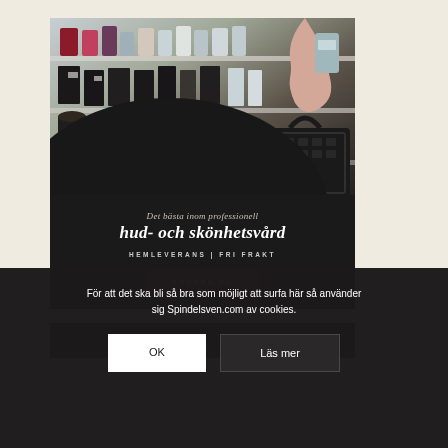[Figure (photo): Advertisement banner showing shelves with beauty/skincare products in a store, with a hand reaching for a product and a shopping basket]
Det bästa inom professionell
hud- och skönhetsvård
HEMLEVERANS | FRI FRAKT
SHOPPA NU
[Figure (logo): Hudotekes script logo in light grey]
För att det ska bli så bra som möjligt att surfa här så använder sig Spindelsven.com av cookies.
OK
Läs mer